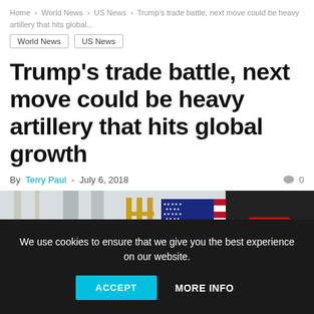Home > World News > US News > Trump's trade battle, next move could be heavy artillery that hits global...
World News
US News
Trump's trade battle, next move could be heavy artillery that hits global growth
By Terry Paul - July 6, 2018  0
[Figure (photo): Composite image: large American flag displayed indoors with scaffolding visible; smaller inset image of a red NASCAR-style race car on a track]
We use cookies to ensure that we give you the best experience on our website.
ACCEPT   MORE INFO